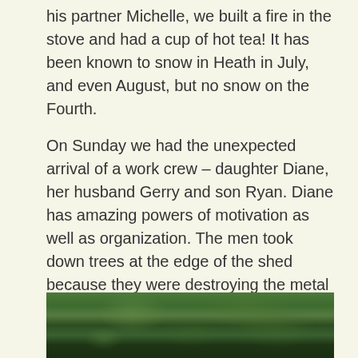his partner Michelle, we built a fire in the stove and had a cup of hot tea!  It has been known to snow in Heath in July, and even August, but no snow on the Fourth.
On Sunday we had the unexpected arrival of a work crew – daughter Diane, her husband Gerry and son Ryan. Diane has amazing powers of motivation as well as organization. The men took down trees at the edge of the shed because they were destroying the metal roof. While they did that the women restacked the woodpile so that the oldest wood would finally be burned.  My husband, the Major, and I decided the next priority was a birch tree in the field that had been felled by the December ice storm.
[Figure (photo): Outdoor photograph showing dense green foliage and trees, partially visible at the bottom of the page.]